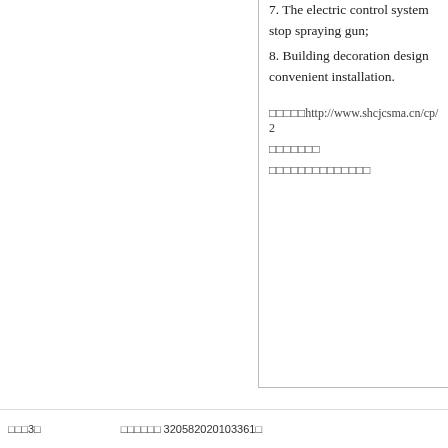7. The electric control system stop spraying gun;
8. Building decoration design convenient installation.
□□□□□http://www.shcjcsma.cn/cp/2
□□□□□□□
□□□□□□□□□□□□□□
□□□3□    □□□□□□ 320582020103361□